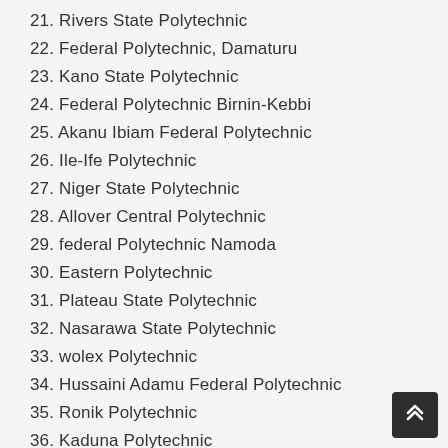21. Rivers State Polytechnic
22. Federal Polytechnic, Damaturu
23. Kano State Polytechnic
24. Federal Polytechnic Birnin-Kebbi
25. Akanu Ibiam Federal Polytechnic
26. Ile-Ife Polytechnic
27. Niger State Polytechnic
28. Allover Central Polytechnic
29. federal Polytechnic Namoda
30. Eastern Polytechnic
31. Plateau State Polytechnic
32. Nasarawa State Polytechnic
33. wolex Polytechnic
34. Hussaini Adamu Federal Polytechnic
35. Ronik Polytechnic
36. Kaduna Polytechnic
37. Kings Polytechnic
38. The Polytechnic of Calabar
39. Benue State Polytechnic